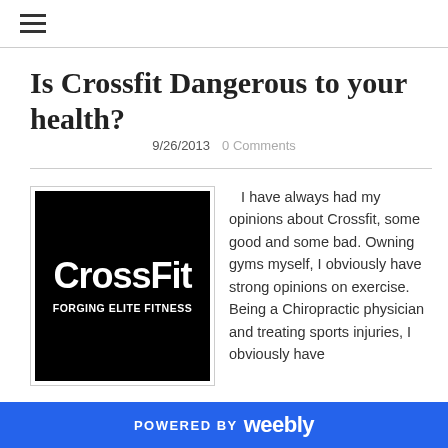☰ (hamburger menu icon)
Is Crossfit Dangerous to your health?
9/26/2013   0 Comments
[Figure (logo): CrossFit logo: black background with white bold text 'CrossFit' and tagline 'FORGING ELITE FITNESS']
I have always had my opinions about Crossfit, some good and some bad. Owning gyms myself, I obviously have strong opinions on exercise. Being a Chiropractic physician and treating sports injuries, I obviously have
POWERED BY weebly